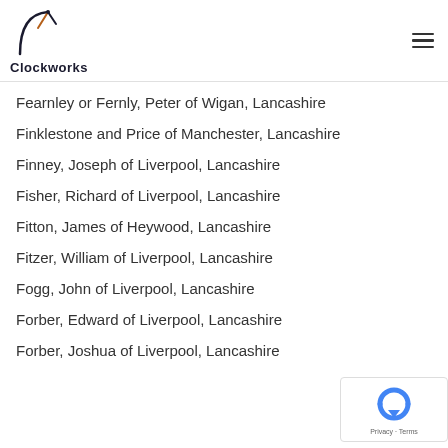Clockworks
Fearnley or Fernly, Peter of Wigan, Lancashire
Finklestone and Price of Manchester, Lancashire
Finney, Joseph of Liverpool, Lancashire
Fisher, Richard of Liverpool, Lancashire
Fitton, James of Heywood, Lancashire
Fitzer, William of Liverpool, Lancashire
Fogg, John of Liverpool, Lancashire
Forber, Edward of Liverpool, Lancashire
Forber, Joshua of Liverpool, Lancashire